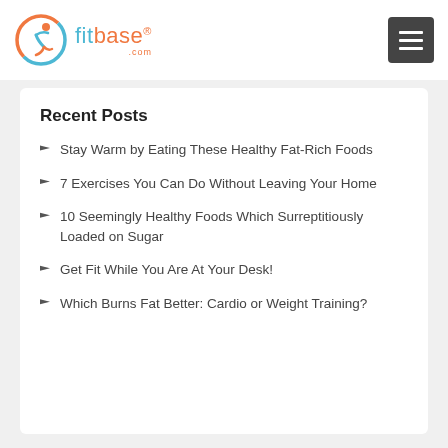fitbase®.com
Recent Posts
Stay Warm by Eating These Healthy Fat-Rich Foods
7 Exercises You Can Do Without Leaving Your Home
10 Seemingly Healthy Foods Which Surreptitiously Loaded on Sugar
Get Fit While You Are At Your Desk!
Which Burns Fat Better: Cardio or Weight Training?